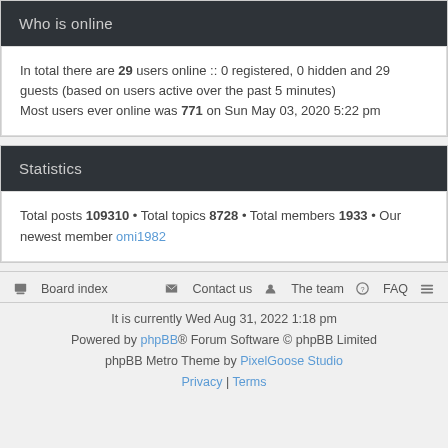Who is online
In total there are 29 users online :: 0 registered, 0 hidden and 29 guests (based on users active over the past 5 minutes)
Most users ever online was 771 on Sun May 03, 2020 5:22 pm
Statistics
Total posts 109310 • Total topics 8728 • Total members 1933 • Our newest member omi1982
Board index   Contact us   The team   FAQ
It is currently Wed Aug 31, 2022 1:18 pm
Powered by phpBB® Forum Software © phpBB Limited
phpBB Metro Theme by PixelGoose Studio
Privacy | Terms